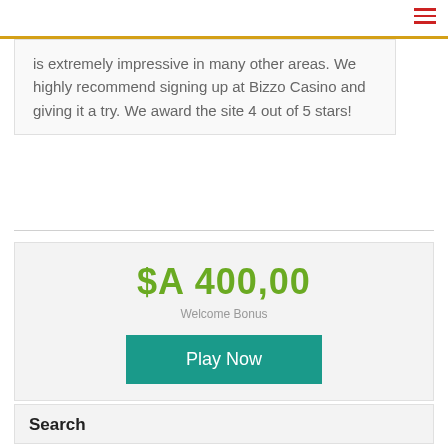is extremely impressive in many other areas. We highly recommend signing up at Bizzo Casino and giving it a try. We award the site 4 out of 5 stars!
[Figure (infographic): Bonus promotional card showing '$A 400,00 Welcome Bonus' in green text with a teal 'Play Now' button]
Search